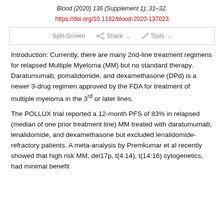Blood (2020) 136 (Supplement 1): 31–32.
https://doi.org/10.1182/blood-2020-137023
[Figure (screenshot): Toolbar with Split-Screen, Share, and Tools options]
Introduction: Currently, there are many 2nd-line treatment regimens for relapsed Multiple Myeloma (MM) but no standard therapy. Daratumumab, pomalidomide, and dexamethasone (DPd) is a newer 3-drug regimen approved by the FDA for treatment of multiple myeloma in the 3rd or later lines.
The POLLUX trial reported a 12-month PFS of 83% in relapsed (median of one prior treatment line) MM treated with daratumumab, lenalidomide, and dexamethasone but excluded lenalidomide-refractory patients. A meta-analysis by Premkumar et al recently showed that high risk MM, del17p, t(4:14), t(14:16) cytogenetics, had minimal benefit